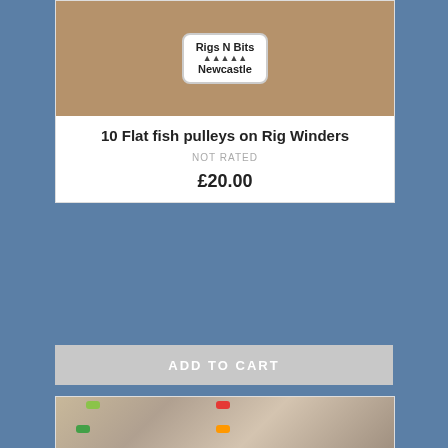[Figure (photo): Product photo showing Rigs N Bits Newcastle logo/label on a wooden surface]
10 Flat fish pulleys on Rig Winders
NOT RATED
£20.00
ADD TO CART
[Figure (photo): Photo of four flat fish pulley fishing rigs with colourful beads (green, yellow, red, orange) on orange wire, displayed in clear packaging bags against a dark background]